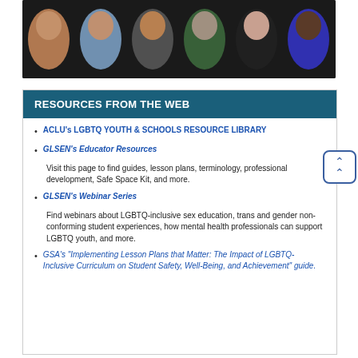[Figure (photo): Row of six young people's faces against a dark background, serving as a banner image.]
RESOURCES FROM THE WEB
ACLU's LGBTQ YOUTH & SCHOOLS RESOURCE LIBRARY
GLSEN's Educator Resources
Visit this page to find guides, lesson plans, terminology, professional development, Safe Space Kit, and more.
GLSEN's Webinar Series
Find webinars about LGBTQ-inclusive sex education, trans and gender non-conforming student experiences, how mental health professionals can support LGBTQ youth, and more.
GSA's "Implementing Lesson Plans that Matter: The Impact of LGBTQ-Inclusive Curriculum on Student Safety, Well-Being, and Achievement" guide.